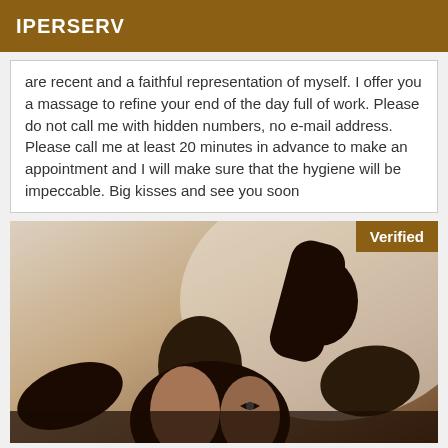IPERSERV
are recent and a faithful representation of myself. I offer you a massage to refine your end of the day full of work. Please do not call me with hidden numbers, no e-mail address. Please call me at least 20 minutes in advance to make an appointment and I will make sure that the hygiene will be impeccable. Big kisses and see you soon
[Figure (photo): Photo of a person with a verified badge overlay in the top right corner. The image shows a close-up figure with dark tones.]